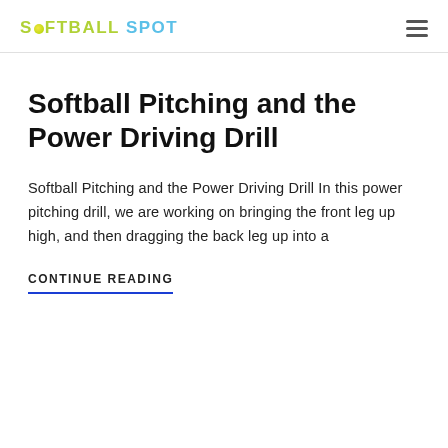SOFTBALL SPOT
Softball Pitching and the Power Driving Drill
Softball Pitching and the Power Driving Drill In this power pitching drill, we are working on bringing the front leg up high, and then dragging the back leg up into a
CONTINUE READING